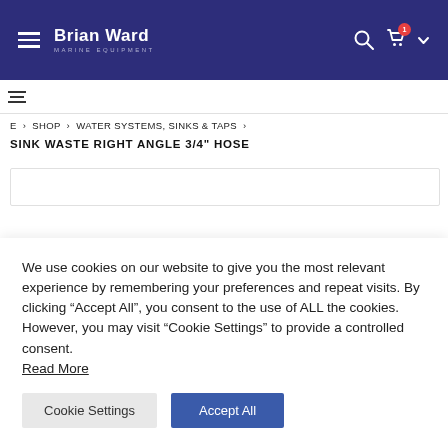Brian Ward Marine Equipment
E > SHOP > WATER SYSTEMS, SINKS & TAPS > SINK WASTE RIGHT ANGLE 3/4" HOSE
SINK WASTE RIGHT ANGLE 3/4" HOSE
We use cookies on our website to give you the most relevant experience by remembering your preferences and repeat visits. By clicking “Accept All”, you consent to the use of ALL the cookies. However, you may visit “Cookie Settings” to provide a controlled consent. Read More
Cookie Settings | Accept All